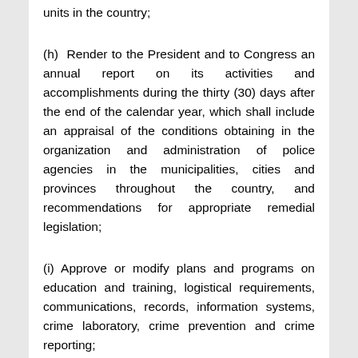units in the country;
(h) Render to the President and to Congress an annual report on its activities and accomplishments during the thirty (30) days after the end of the calendar year, which shall include an appraisal of the conditions obtaining in the organization and administration of police agencies in the municipalities, cities and provinces throughout the country, and recommendations for appropriate remedial legislation;
(i) Approve or modify plans and programs on education and training, logistical requirements, communications, records, information systems, crime laboratory, crime prevention and crime reporting;